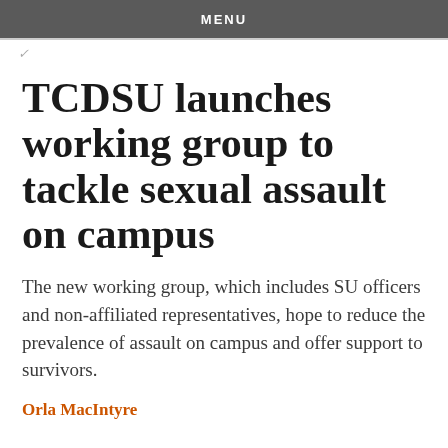MENU
TCDSU launches working group to tackle sexual assault on campus
The new working group, which includes SU officers and non-affiliated representatives, hope to reduce the prevalence of assault on campus and offer support to survivors.
Orla MacIntyre